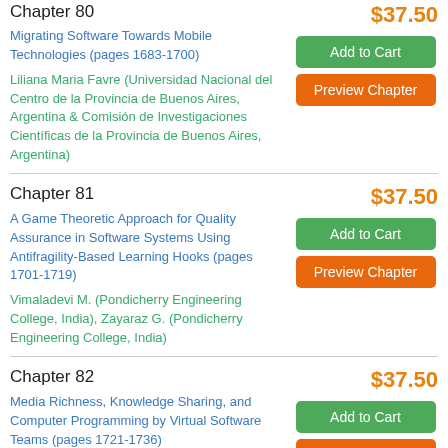Chapter 80 — $37.50
Migrating Software Towards Mobile Technologies (pages 1683-1700)
Liliana Maria Favre (Universidad Nacional del Centro de la Provincia de Buenos Aires, Argentina & Comisión de Investigaciones Científicas de la Provincia de Buenos Aires, Argentina)
Chapter 81
$37.50
A Game Theoretic Approach for Quality Assurance in Software Systems Using Antifragility-Based Learning Hooks (pages 1701-1719)
Vimaladevi M. (Pondicherry Engineering College, India), Zayaraz G. (Pondicherry Engineering College, India)
Chapter 82
$37.50
Media Richness, Knowledge Sharing, and Computer Programming by Virtual Software Teams (pages 1721-1736)
Idongesit Williams (Aalborg University, Denmark), Albert Gyamfi (Aalborg University, Denmark)